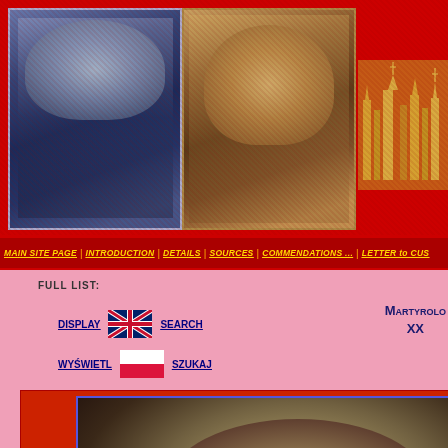[Figure (photo): Top banner with two religious icons (Madonna and Child paintings) on the left and a golden city skyline silhouette on the right, on red background]
MAIN SITE PAGE | INTRODUCTION | DETAILS | SOURCES | COMMENDATIONS ... | LETTER to CUS
FULL LIST:
DISPLAY   SEARCH
WYŚWIETL   SZUKAJ
Martyrology XX
[Figure (photo): Black and white portrait photograph of a man's face, slightly blurred, looking slightly downward]
SURNAME
S
FORENAME(S)
Arthur S